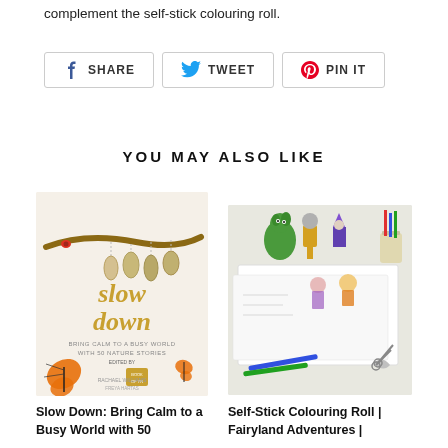complement the self-stick colouring roll.
[Figure (other): Social share buttons: SHARE (Facebook), TWEET (Twitter), PIN IT (Pinterest)]
YOU MAY ALSO LIKE
[Figure (photo): Book cover: Slow Down - Bring Calm to a Busy World with 50 Nature Stories, featuring monarch butterflies and cocoons on a branch]
[Figure (photo): Product photo: Self-Stick Colouring Roll Fairyland Adventures, showing coloured fantasy characters and coloring pages with pencils and scissors]
Slow Down: Bring Calm to a Busy World with 50
Self-Stick Colouring Roll | Fairyland Adventures |